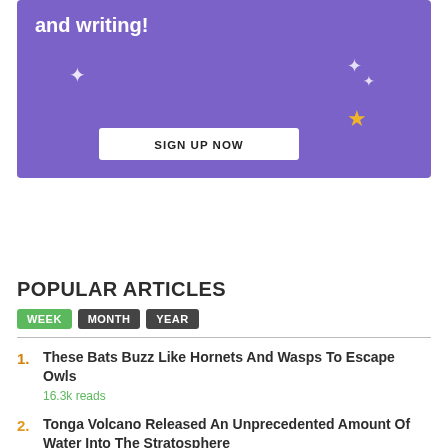[Figure (infographic): Purple banner with bold white text 'and writing!' (partial), snowflake/star decorations, and a 'SIGN UP NOW' button]
POPULAR ARTICLES
WEEK  MONTH  YEAR
1. These Bats Buzz Like Hornets And Wasps To Escape Owls — 16.3k reads
2. Tonga Volcano Released An Unprecedented Amount Of Water Into The Stratosphere — 11.3k reads